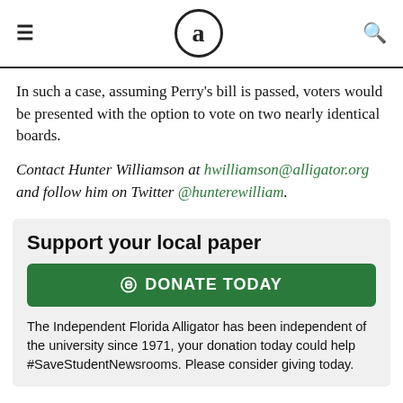a (The Independent Florida Alligator logo)
In such a case, assuming Perry's bill is passed, voters would be presented with the option to vote on two nearly identical boards.
Contact Hunter Williamson at hwilliamson@alligator.org and follow him on Twitter @hunterewilliam.
Support your local paper
DONATE TODAY
The Independent Florida Alligator has been independent of the university since 1971, your donation today could help #SaveStudentNewsrooms. Please consider giving today.